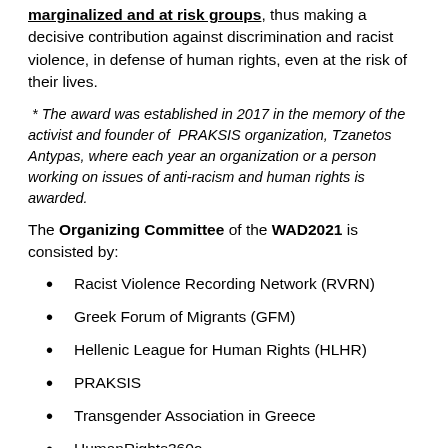marginalized and at risk groups, thus making a decisive contribution against discrimination and racist violence, in defense of human rights, even at the risk of their lives.
* The award was established in 2017 in the memory of the activist and founder of PRAKSIS organization, Tzanetos Antypas, where each year an organization or a person working on issues of anti-racism and human rights is awarded.
The Organizing Committee of the WAD2021 is consisted by:
Racist Violence Recording Network (RVRN)
Greek Forum of Migrants (GFM)
Hellenic League for Human Rights (HLHR)
PRAKSIS
Transgender Association in Greece
HumanRights360o